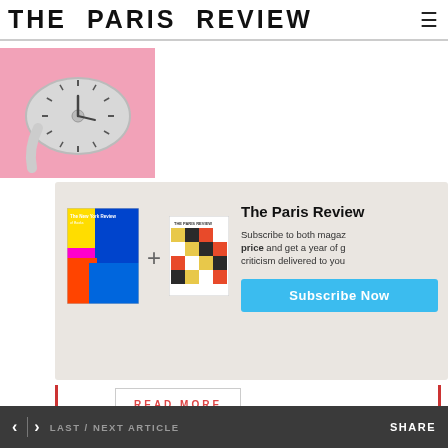THE PARIS REVIEW
[Figure (photo): A silver melting Dali-style clock on a pink background]
[Figure (infographic): Subscription promo box showing The New York Review and The Paris Review magazine covers with a plus sign, alongside text 'The Paris Review' and 'Subscribe to both magazines at one price and get a year of great fiction, poetry, and criticism delivered to your door.' with a Subscribe Now button]
READ MORE
< > LAST / NEXT ARTICLE    SHARE